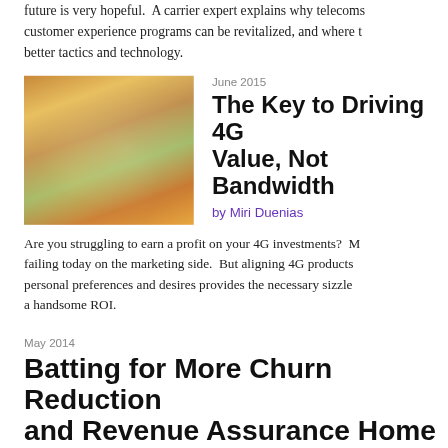future is very hopeful. A carrier expert explains why telecoms customer experience programs can be revitalized, and where to better tactics and technology.
June 2015
[Figure (photo): Family photo with woman and child outdoors with warm autumn colors]
The Key to Driving 4G Value, Not Bandwidth
by Miri Duenias
Are you struggling to earn a profit on your 4G investments? Many are failing today on the marketing side. But aligning 4G products with personal preferences and desires provides the necessary sizzle to earn a handsome ROI.
May 2014
Batting for More Churn Reduction and Revenue Assurance Home Runs
interview with Peter Mueller
What's it like to transform an IT shop to big data and cloud? The CTO of a boutique revenue assurance explains how his firm m